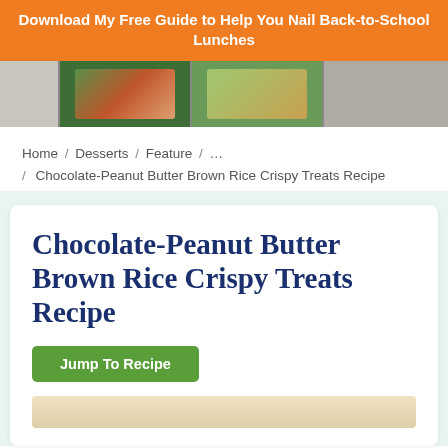Download My Free Guide to Help You Nail Back-to-School Lunches
[Figure (photo): Food photos showing lunch boxes and bento boxes with various foods]
Home / Desserts / Feature / ... / Chocolate-Peanut Butter Brown Rice Crispy Treats Recipe
Chocolate-Peanut Butter Brown Rice Crispy Treats Recipe
Jump To Recipe
[Figure (photo): Partial view of chocolate peanut butter brown rice crispy treats]